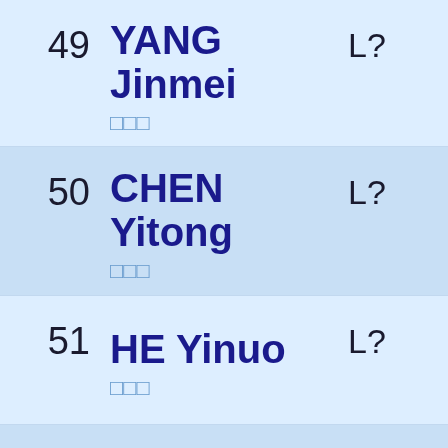| # | Name | Col1 | Col2 |
| --- | --- | --- | --- |
| 49 | YANG Jinmei □□□ | L? |  |
| 50 | CHEN Yitong □□□ | L? |  |
| 51 | HE Yinuo □□□ | L? |  |
| 52 | LYU ... |  |  |